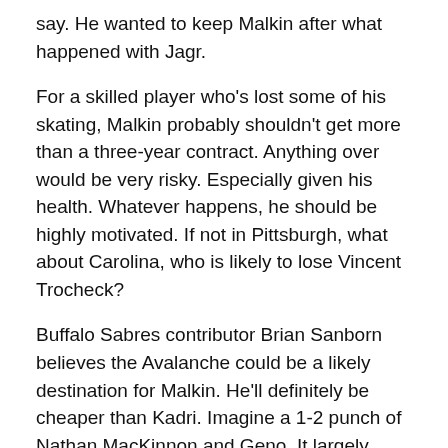say. He wanted to keep Malkin after what happened with Jagr.
For a skilled player who's lost some of his skating, Malkin probably shouldn't get more than a three-year contract. Anything over would be very risky. Especially given his health. Whatever happens, he should be highly motivated. If not in Pittsburgh, what about Carolina, who is likely to lose Vincent Trocheck?
Buffalo Sabres contributor Brian Sanborn believes the Avalanche could be a likely destination for Malkin. He'll definitely be cheaper than Kadri. Imagine a 1-2 punch of Nathan MacKinnon and Geno. It largely depends on what else the Avs do. They should focus on re-signing restricted free agent Artturi Lehkonen, who came up clutch with the Cup winner to dethrone the Lightning.